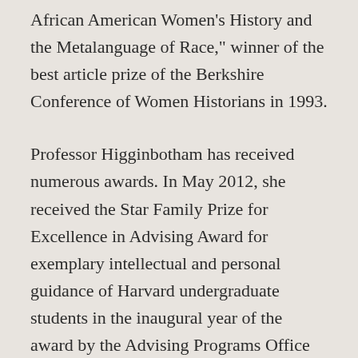African American Women's History and the Metalanguage of Race," winner of the best article prize of the Berkshire Conference of Women Historians in 1993.
Professor Higginbotham has received numerous awards. In May 2012, she received the Star Family Prize for Excellence in Advising Award for exemplary intellectual and personal guidance of Harvard undergraduate students in the inaugural year of the award by the Advising Programs Office of Harvard College.  In February 2012, she received the Living Legacy Award from the Association for the Study of African American Life and History.  In 2010, Dr.